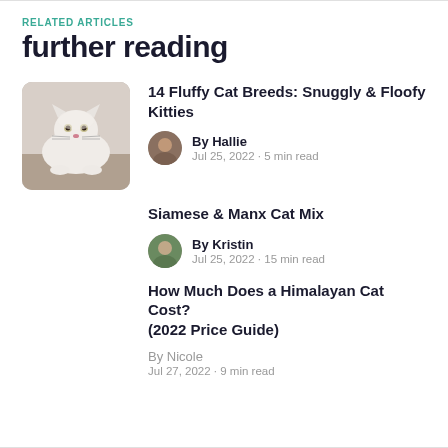RELATED ARTICLES
further reading
14 Fluffy Cat Breeds: Snuggly & Floofy Kitties | By Hallie | Jul 25, 2022 - 5 min read
Siamese & Manx Cat Mix | By Kristin | Jul 25, 2022 - 15 min read
How Much Does a Himalayan Cat Cost? (2022 Price Guide) | By Nicole | Jul 27, 2022 - 9 min read